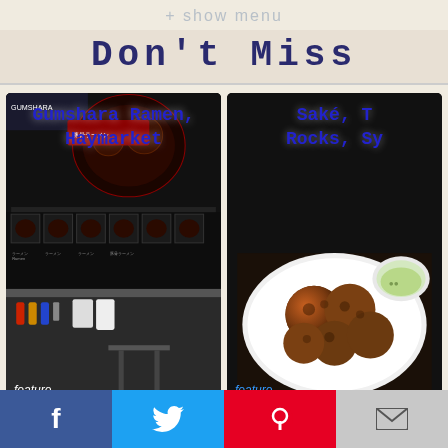+ show menu
Don't Miss
[Figure (photo): Photo of Gumshara Ramen restaurant menu board at Haymarket showing ramen bowls]
Gumshara Ramen, Haymarket
feature
[Figure (photo): Photo of fried food (arancini/croquettes) on a white plate at Saké, The Rocks, Sydney]
Saké, The Rocks, Sy...
feature
f  [twitter]  [pinterest]  [email]